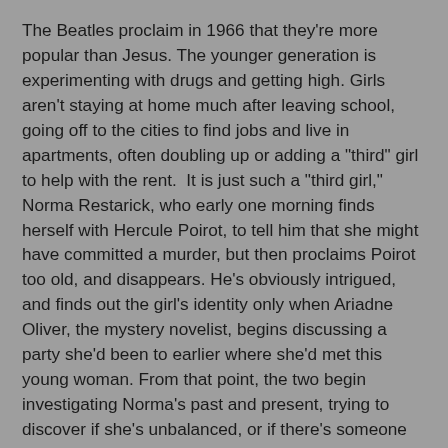The Beatles proclaim in 1966 that they're more popular than Jesus. The younger generation is experimenting with drugs and getting high. Girls aren't staying at home much after leaving school, going off to the cities to find jobs and live in apartments, often doubling up or adding a "third" girl to help with the rent.  It is just such a "third girl," Norma Restarick, who early one morning finds herself with Hercule Poirot, to tell him that she might have committed a murder, but then proclaims Poirot too old, and disappears. He's obviously intrigued, and finds out the girl's identity only when Ariadne Oliver, the mystery novelist, begins discussing a party she'd been to earlier where she'd met this young woman. From that point, the two begin investigating Norma's past and present, trying to discover if she's unbalanced, or if there's someone that might mean her harm. Poirot looks for patterns & death, and Ariadne tries methods that her detective, Sven Hjerson, might use in her popular mystery books.
As usual, there are plenty of suspects and red herrings throughout the novel, and this time Christie puts a secret up her sleeve that she doesn't reveal until the end -- a bit of